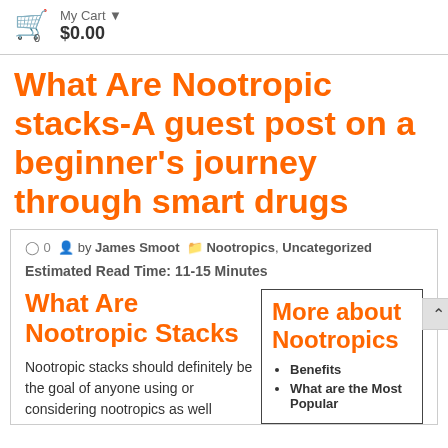My Cart ▼ 0 $0.00
What Are Nootropic stacks-A guest post on a beginner's journey through smart drugs
0 by James Smoot Nootropics, Uncategorized
Estimated Read Time: 11-15 Minutes
What Are Nootropic Stacks
Nootropic stacks should definitely be the goal of anyone using or considering nootropics as well
More about Nootropics
Benefits
What are the Most Popular